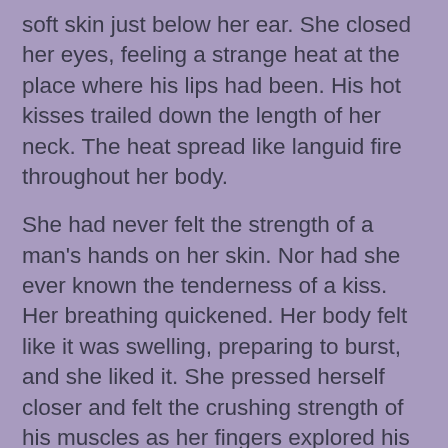soft skin just below her ear. She closed her eyes, feeling a strange heat at the place where his lips had been. His hot kisses trailed down the length of her neck. The heat spread like languid fire throughout her body.
She had never felt the strength of a man's hands on her skin. Nor had she ever known the tenderness of a kiss. Her breathing quickened. Her body felt like it was swelling, preparing to burst, and she liked it. She pressed herself closer and felt the crushing strength of his muscles as her fingers explored his form. Her hands swept down his powerful arms, sliding over muscled ridges. And then they traveled down past his lean waist to stroke the length of his hard thigh, but instead of smooth, wet skin, her fingers touched something cold and sharp.
Her eyes snapped open, and her senses returned